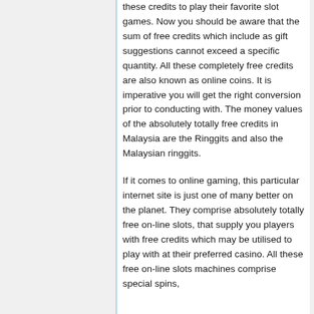these credits to play their favorite slot games. Now you should be aware that the sum of free credits which include as gift suggestions cannot exceed a specific quantity. All these completely free credits are also known as online coins. It is imperative you will get the right conversion prior to conducting with. The money values of the absolutely totally free credits in Malaysia are the Ringgits and also the Malaysian ringgits.
If it comes to online gaming, this particular internet site is just one of many better on the planet. They comprise absolutely totally free on-line slots, that supply you players with free credits which may be utilised to play with at their preferred casino. All these free on-line slots machines comprise special spins,